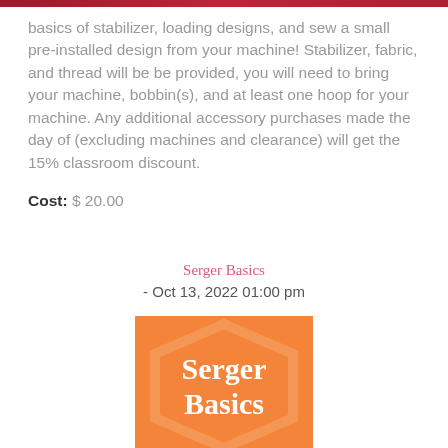basics of stabilizer, loading designs, and sew a small pre-installed design from your machine! Stabilizer, fabric, and thread will be be provided, you will need to bring your machine, bobbin(s), and at least one hoop for your machine. Any additional accessory purchases made the day of (excluding machines and clearance) will get the 15% classroom discount.
Cost: $ 20.00
Serger Basics
- Oct 13, 2022 01:00 pm
[Figure (illustration): Orange square image with a lighter orange hexagon outline in the center. Bold white text reads 'Serger Basics' stacked vertically.]